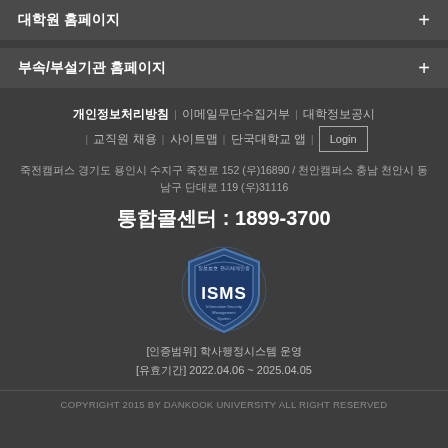대학원 홈페이지
부속/부설기관 홈페이지
개인정보처리방침  |  이메일무단수집거부  |  대학정보공시  |  교직원 채용  |  사이트맵  |  단국대학교 앱  |  Login
죽전캠퍼스 경기도 용인시 수지구 죽전로 152 (우)16890 / 천안캠퍼스 충남 천안시 동남구 단대로 119 (우)31116
통합콜센터 : 1899-3700
[Figure (logo): ISMS (Information Security Management System) certification badge/shield logo with Korean text]
[인증범위] 학사행정시스템 운영
[유효기간] 2022.04.06 ~ 2025.04.05
COPYRIGHT 2015 BY DANKOOK UNIVERSITY ALL RIGHT RESERVED